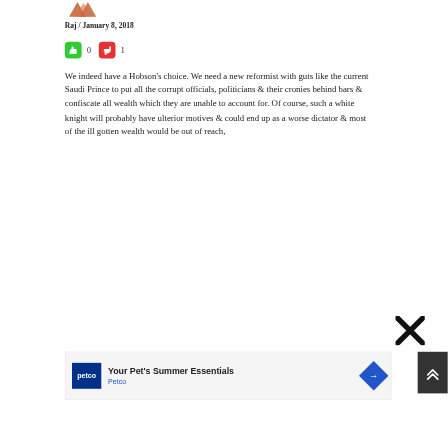[Figure (logo): Decorative fox/animal logo in orange/brown tones at top]
Raj / January 8, 2018
[Figure (infographic): Thumbs up (green) with count 0, thumbs down (red) with count 1]
We indeed have a Hobson’s choice. We need a new reformist with guts like the current Saudi Prince to put all the corrupt officials, politicians & their cronies behind bars & confiscate all wealth which they are unable to account for. Of course, such a white knight will probably have ulterior motives & could end up as a worse dictator & most of the ill gotten wealth would be out of reach,
[Figure (other): Black X close button]
[Figure (other): Petco advertisement banner: Your Pet's Summer Essentials]